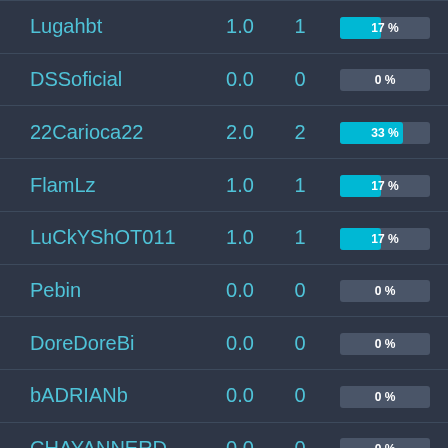| Name | Score | Count | Bar | Value |
| --- | --- | --- | --- | --- |
| Lugahbt | 1.0 | 1 | 17 % | 0 |
| DSSoficial | 0.0 | 0 | 0 % | 0 |
| 22Carioca22 | 2.0 | 2 | 33 % | 0 |
| FlamLz | 1.0 | 1 | 17 % | 1 |
| LuCkYShOT011 | 1.0 | 1 | 17 % | 0 |
| Pebin | 0.0 | 0 | 0 % | 0 |
| DoreDoreBi | 0.0 | 0 | 0 % | 0 |
| bADRIANb | 0.0 | 0 | 0 % | 0 |
| CHAYANNERD | 0.0 | 0 | 0 % | 1 |